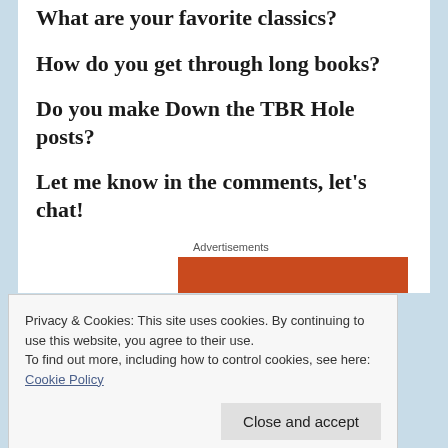What are your favorite classics?
How do you get through long books?
Do you make Down the TBR Hole posts?
Let me know in the comments, let's chat!
Advertisements
[Figure (other): Orange/red advertisement banner]
Privacy & Cookies: This site uses cookies. By continuing to use this website, you agree to their use.
To find out more, including how to control cookies, see here: Cookie Policy
Close and accept